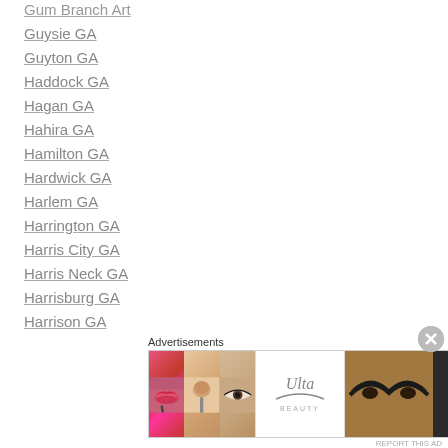Gum Branch Art
Guysie GA
Guyton GA
Haddock GA
Hagan GA
Hahira GA
Hamilton GA
Hardwick GA
Harlem GA
Harrington GA
Harris City GA
Harris Neck GA
Harrisburg GA
Harrison GA
Hartsfield GA
Hartwell GA
Advertisements
[Figure (illustration): Ulta Beauty advertisement banner with makeup imagery including lips with lipstick, makeup brush, eye with makeup, Ulta Beauty logo, eyes with dramatic makeup, and SHOP NOW text on dark background]